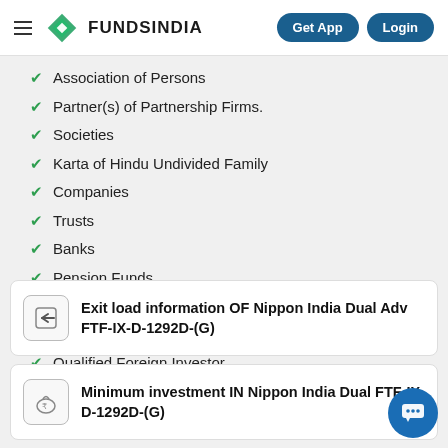FUNDSINDIA | Get App | Login
Association of Persons
Partner(s) of Partnership Firms.
Societies
Karta of Hindu Undivided Family
Companies
Trusts
Banks
Pension Funds
Defence Services
Foreign Portfolio Investors
Qualified Foreign Investor
Exit load information OF Nippon India Dual Adv FTF-IX-D-1292D-(G)
Minimum investment IN Nippon India Dual FTF-IX-D-1292D-(G)